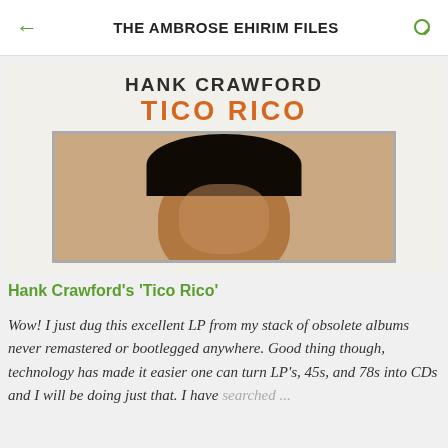THE AMBROSE EHIRIM FILES
[Figure (photo): Album cover for Hank Crawford's 'Tico Rico' showing artist name in dark text, album title in orange, and a portrait photo of a person's head]
Hank Crawford's 'Tico Rico'
Wow! I just dug this excellent LP from my stack of obsolete albums never remastered or bootlegged anywhere. Good thing though, technology has made it easier one can turn LP's, 45s, and 78s into CDs and I will be doing just that. I have searched ...
[Figure (photo): Partial view of a second image with olive/yellow-green background, bottom of page]